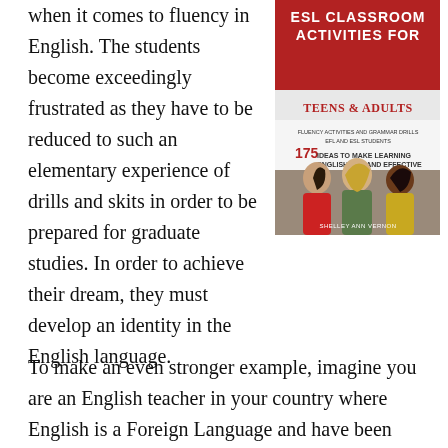when it comes to fluency in English. The students become exceedingly frustrated as they have to be reduced to such an elementary experience of drills and skits in order to be prepared for graduate studies. In order to achieve their dream, they must develop an identity in the English language.
[Figure (illustration): Book cover: ESL Classroom Activities for Teens & Adults by Shelley Ann Vernon. Red and white cover with text about fluency activities, grammar drills, 175 ideas, and a photo of three women laughing.]
To make an even stronger example, imagine you are an English teacher in your country where English is a Foreign Language and have been